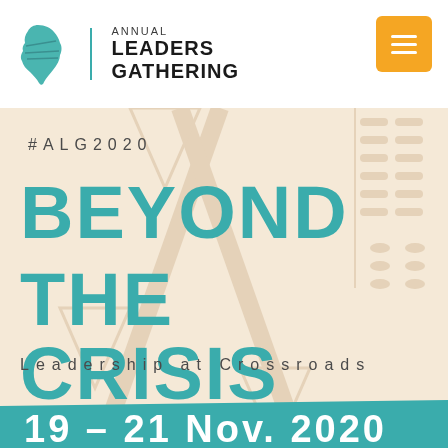[Figure (logo): Annual Leaders Gathering logo with stylized Africa continent icon in teal, vertical divider, and text 'ANNUAL LEADERS GATHERING']
#ALG2020
BEYOND THE CRISIS
Leadership at Crossroads
19 - 21 Nov. 2020